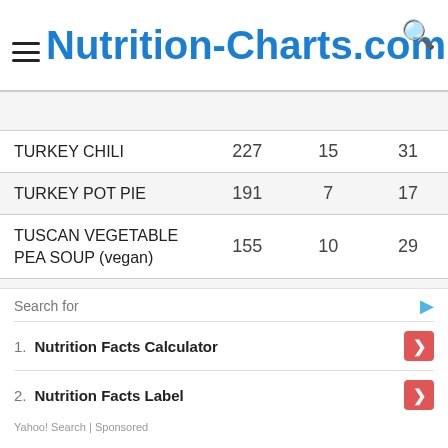Nutrition-Charts.com
| Food | Calories | Fat | Carbs |
| --- | --- | --- | --- |
| TURKEY CHILI | 227 | 15 | 31 |
| TURKEY POT PIE | 191 | 7 | 17 |
| TUSCAN VEGETABLE PEA SOUP (vegan) | 155 | 10 | 29 |
| TUSCAN WHITE BEANS AND VEGETABLE (…) | 197 | 7 | 21 |
Search for
1. Nutrition Facts Calculator
2. Nutrition Facts Label
Yahoo! Search | Sponsored